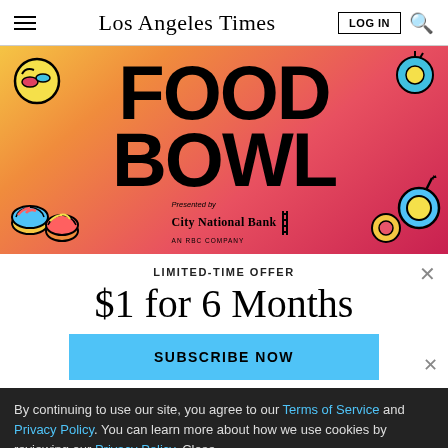Los Angeles Times
[Figure (illustration): Food Bowl event advertisement banner with colorful illustrated food items, bold text reading FOOD BOWL, presented by City National Bank AN RBC COMPANY, on a gradient orange-pink background]
LIMITED-TIME OFFER
$1 for 6 Months
SUBSCRIBE NOW
By continuing to use our site, you agree to our Terms of Service and Privacy Policy. You can learn more about how we use cookies by reviewing our Privacy Policy. Close